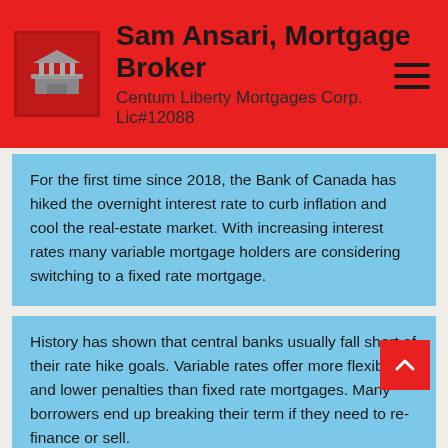Sam Ansari, Mortgage Broker
Centum Liberty Mortgages Corp. Lic#12088
For the first time since 2018, the Bank of Canada has hiked the overnight interest rate to curb inflation and cool the real-estate market. With increasing interest rates many variable mortgage holders are considering switching to a fixed rate mortgage.
History has shown that central banks usually fall short of their rate hike goals. Variable rates offer more flexibility and lower penalties than fixed rate mortgages. Many borrowers end up breaking their term if they need to re-finance or sell.
The penalty for breaking a variable mortgage is typically